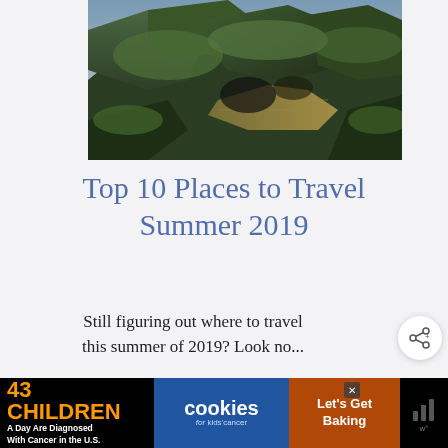[Figure (photo): Aerial or close-up view of mossy green rocky landscape, possibly Machu Picchu ruins or similar ancient stone terrace structure]
Top 10 Places to Travel Summer 2019
Still figuring out where to travel this summer of 2019? Look no...
Read More
[Figure (other): What's Next panel with thumbnail and title: What to Wear in Paris (Plu...]
[Figure (other): Advertisement banner: 43 CHILDREN A Day Are Diagnosed With Cancer in the U.S. / cookies for kids cancer / Let's Get Baking]